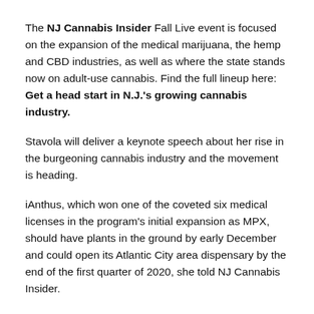The NJ Cannabis Insider Fall Live event is focused on the expansion of the medical marijuana, the hemp and CBD industries, as well as where the state stands now on adult-use cannabis. Find the full lineup here: Get a head start in N.J.'s growing cannabis industry.
Stavola will deliver a keynote speech about her rise in the burgeoning cannabis industry and the movement is heading.
iAnthus, which won one of the coveted six medical licenses in the program's initial expansion as MPX, should have plants in the ground by early December and could open its Atlantic City area dispensary by the end of the first quarter of 2020, she told NJ Cannabis Insider.
But she says there's still plenty of room for more players following the latest Request for Applications round.
“I personally agree that there is plenty of room for those licenses,” Stavola told NJ Cannabis Insider last week. “We